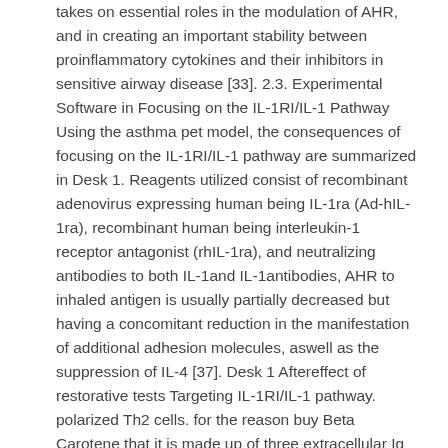takes on essential roles in the modulation of AHR, and in creating an important stability between proinflammatory cytokines and their inhibitors in sensitive airway disease [33]. 2.3. Experimental Software in Focusing on the IL-1RI/IL-1 Pathway Using the asthma pet model, the consequences of focusing on the IL-1RI/IL-1 pathway are summarized in Desk 1. Reagents utilized consist of recombinant adenovirus expressing human being IL-1ra (Ad-hIL-1ra), recombinant human being interleukin-1 receptor antagonist (rhIL-1ra), and neutralizing antibodies to both IL-1and IL-1antibodies, AHR to inhaled antigen is usually partially decreased but having a concomitant reduction in the manifestation of additional adhesion molecules, aswell as the suppression of IL-4 [37]. Desk 1 Aftereffect of restorative tests Targeting IL-1RI/IL-1 pathway. polarized Th2 cells. for the reason buy Beta Carotene that it is made up of three extracellular Ig domains and an intracellular Toll domain name. T1/ST2-reliant IL-33 reactions resemble traditional IL-1-like signaling, in keeping with IL-33 receptor signaling via the recruitment of the coreceptor, E.coli polyclonal to V5 Tag.Posi Tag is a 45 kDa recombinant protein expressed in E.coli. It contains five different Tags as shown in the figure. It is bacterial lysate supplied in reducing SDS-PAGE loading buffer. It is intended for use as a positive